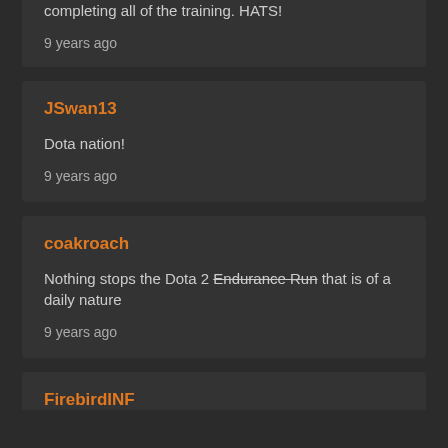completing all of the training. HATS!
9 years ago
JSwan13
Dota nation!
9 years ago
coakroach
Nothing stops the Dota 2 Endurance Run that is of a daily nature
9 years ago
FirebirdINF